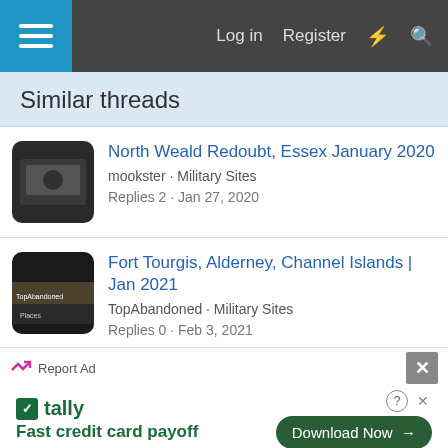Log in  Register
Similar threads
North Weald Redoubt, Essex January 2020
mookster · Military Sites
Replies 2 · Jan 27, 2020
Fort Tourgis, Alderney, Channel Islands | Jan 2021
TopAbandoned · Military Sites
Replies 0 · Feb 3, 2021
Flat Holm Island - Jul 21
BikinGlynn · Misc Sites
Replies 14 · Mar 26, 2022
Llanberis Bomb Store, Llanberis, Gwynedd, North
Report Ad
tally
Fast credit card payoff
Download Now